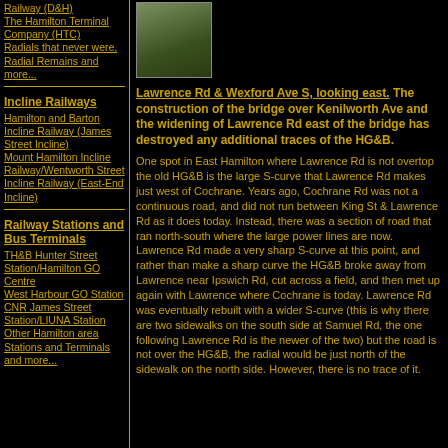Railway (D&H)
The Hamilton Terminal Company (HTC)
Radials that never were, Radial Remains and more...
Incline Railways
Hamilton and Barton Incline Railway (James Street Incline)
Mount Hamilton Incline Railway/Wentworth Street Incline Railway (East-End Incline)
Railway Stations and Bus Terminals
TH&B Hunter Street Station/Hamilton GO Centre
West Harbour GO Station
CNR James Street Station/LIUNA Station
Other Hamilton area Stations and Terminals and more...
[Figure (photo): Photo of Lawrence Rd & Wexford Ave S, looking east, showing road/path area]
Lawrence Rd & Wexford Ave S, looking east. The construction of the bridge over Kenilworth Ave and the widening of Lawrence Rd east of the bridge has destroyed any additional traces of the HG&B.
One spot in East Hamilton where Lawrence Rd is not overtop the old HG&B is the large S-curve that Lawrence Rd makes just west of Cochrane. Years ago, Cochrane Rd was not a continuous road, and did not run between King St & Lawrence Rd as it does today. Instead, there was a section of road that ran north-south where the large power lines are now. Lawrence Rd made a very sharp S-curve at this point, and rather than make a sharp curve the HG&B broke away from Lawrence near Ipswich Rd, cut across a field, and then met up again with Lawrence where Cochrane is today. Lawrence Rd was eventually rebuilt with a wider S-curve (this is why there are two sidewalks on the south side at Samuel Rd, the one following Lawrence Rd is the newer of the two) but the road is not over the HG&B, the radial would be just north of the sidewalk on the north side. However, there is no trace of it.